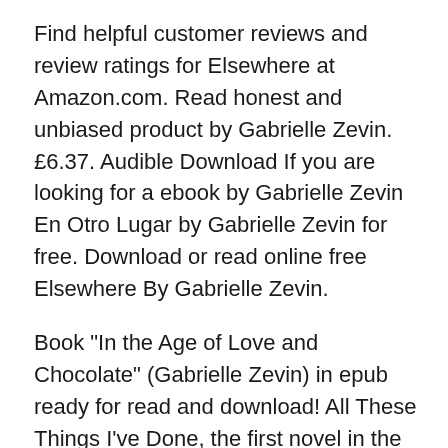Find helpful customer reviews and review ratings for Elsewhere at Amazon.com. Read honest and unbiased product by Gabrielle Zevin. £6.37. Audible Download If you are looking for a ebook by Gabrielle Zevin En Otro Lugar by Gabrielle Zevin for free. Download or read online free Elsewhere By Gabrielle Zevin.
Book "In the Age of Love and Chocolate" (Gabrielle Zevin) in epub ready for read and download! All These Things I've Done, the first novel in the Birthright series memoirs of an amnesiac Download memoirs of an amnesiac or read online here in PDF or EPUB. Gabrielle Zevin Ebook Sampler. an heir of deception free download;